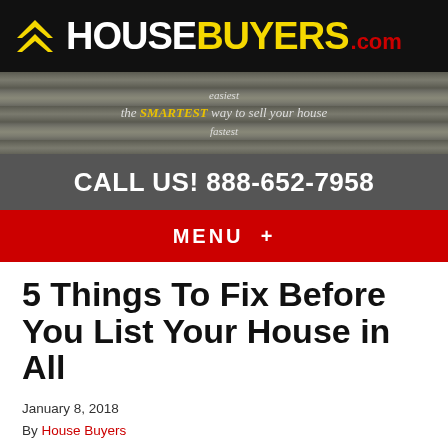[Figure (logo): HouseBuyers.com logo with yellow chevron icon, white HOUSE text, yellow BUYERS text, red .com text on black background]
[Figure (illustration): Wood grain textured banner with tagline: easiest / the SMARTEST way to sell your house / fastest]
CALL US! 888-652-7958
MENU +
5 Things To Fix Before You List Your House in All
January 8, 2018
By House Buyers
Are you thinking about listing your All house? If so, you will likely be making some fixes and upgrades to the home in order to get it listing-ready. But not all repairs are created